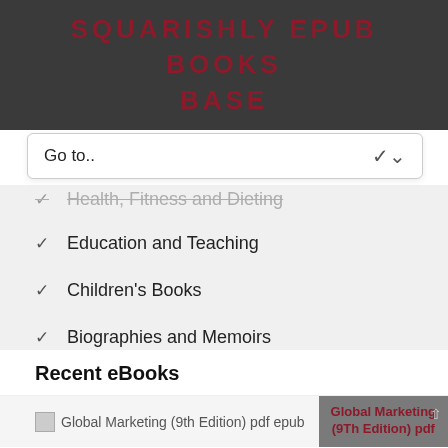SQUARISHLY EPUB BOOKS BASE
[Figure (screenshot): Navigation dropdown bar showing 'Go to..' with arrow]
Health, Fitness and Dieting
Education and Teaching
Children's Books
Biographies and Memoirs
Recent eBooks
Global Marketing (9th Edition) pdf epub
Global Marketing (9Th Edition) pdf